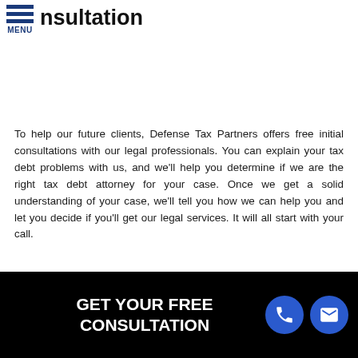MENU | consultation
To help our future clients, Defense Tax Partners offers free initial consultations with our legal professionals. You can explain your tax debt problems with us, and we'll help you determine if we are the right tax debt attorney for your case. Once we get a solid understanding of your case, we'll tell you how we can help you and let you decide if you'll get our legal services. It will all start with your call.
Call Defense Tax Partners today at (844) 907-1401 for your Free Consultation!
[Figure (infographic): Black banner with white bold text reading 'GET YOUR FREE CONSULTATION' with two blue circular icons: a phone icon and an envelope icon]